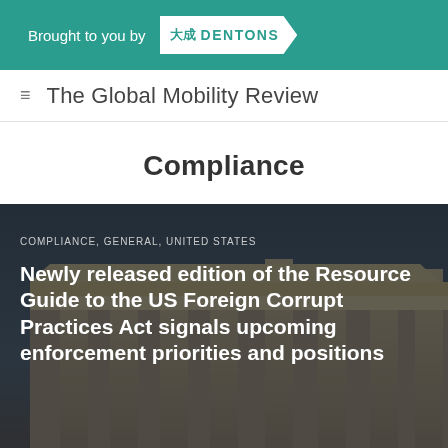Brought to you by 大成 DENTONS
The Global Mobility Review
Compliance
[Figure (photo): Dark photograph of a neo-classical government building with tall columns against a dark sky, overlaid with text about a compliance article.]
COMPLIANCE, GENERAL, UNITED STATES
Newly released edition of the Resource Guide to the US Foreign Corrupt Practices Act signals upcoming enforcement priorities and positions